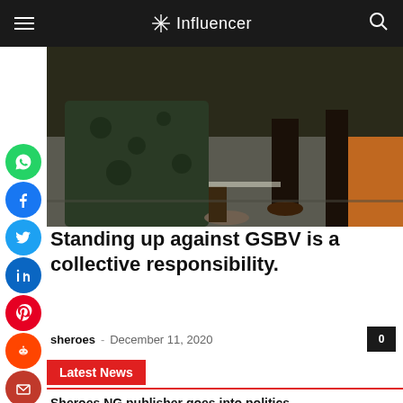Influencer
[Figure (photo): Street scene showing people's legs and feet on pavement, person in floral outfit visible]
Standing up against GSBV is a collective responsibility.
sheroes - December 11, 2020
Latest News
Sheroes.NG publisher goes into politics
July 9, 2022